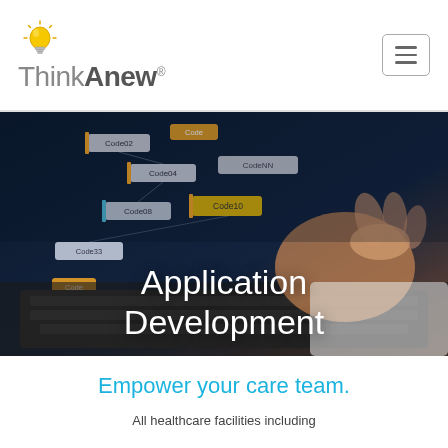ThinkAnew®
[Figure (screenshot): Hero image showing hands typing on a laptop keyboard with floating code tag labels overlaid on a dark blue background. White text overlay reads 'Application Development'.]
Application Development
Empower your care team.
All healthcare facilities including